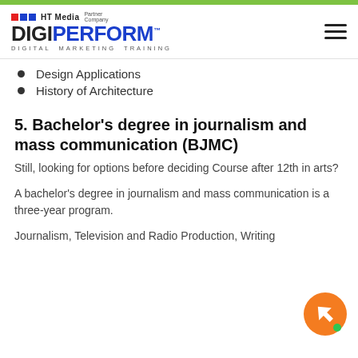[Figure (logo): DigiPerform logo with HT Media Partner Company branding]
Design Applications
History of Architecture
5. Bachelor's degree in journalism and mass communication (BJMC)
Still, looking for options before deciding Course after 12th in arts?
A bachelor's degree in journalism and mass communication is a three-year program.
Journalism, Television and Radio Production, Writing